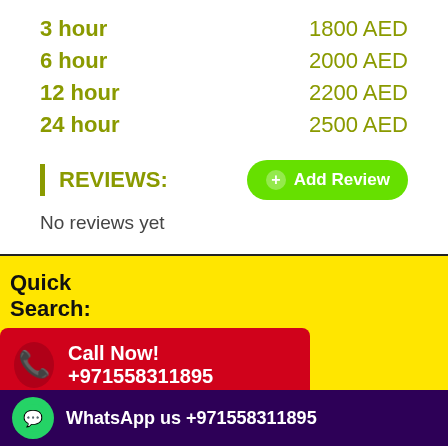3 hour   1800 AED
6 hour   2000 AED
12 hour  2200 AED
24 hour  2500 AED
REVIEWS:
No reviews yet
Quick Search:
Call Now! +971558311895
Female
WhatsApp us +971558311895
premium